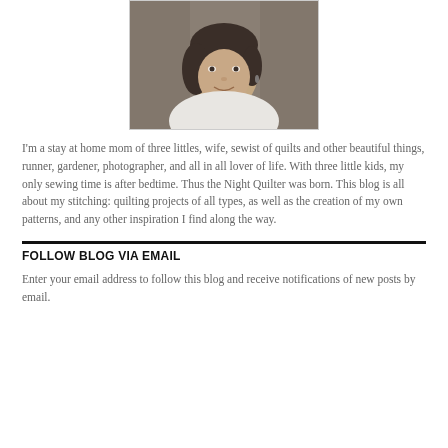[Figure (photo): Portrait photo of a woman with short dark hair, wearing a white top, smiling, with a blurred background]
I'm a stay at home mom of three littles, wife, sewist of quilts and other beautiful things, runner, gardener, photographer, and all in all lover of life. With three little kids, my only sewing time is after bedtime. Thus the Night Quilter was born. This blog is all about my stitching: quilting projects of all types, as well as the creation of my own patterns, and any other inspiration I find along the way.
FOLLOW BLOG VIA EMAIL
Enter your email address to follow this blog and receive notifications of new posts by email.